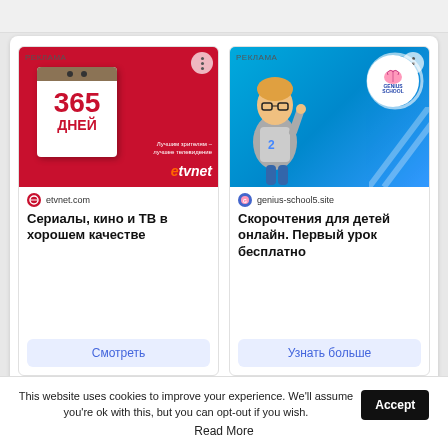[Figure (screenshot): Advertisement card for etvnet.com showing a red background with a calendar displaying '365 ДНЕЙ', etvnet logo, and text 'Сериалы, кино и ТВ в хорошем качестве' with a 'Смотреть' button]
[Figure (screenshot): Advertisement card for genius-school5.site showing a blue background with a child wearing glasses, Genius School logo, and text 'Скорочтения для детей онлайн. Первый урок бесплатно' with a 'Узнать больше' button]
This website uses cookies to improve your experience. We'll assume you're ok with this, but you can opt-out if you wish. Accept Read More